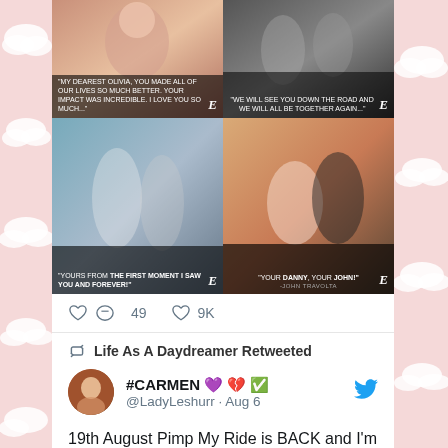[Figure (photo): Four-image grid showing movie stills and tribute quotes for Olivia Newton-John from E! network. Top-left: woman in sparkly dress with quote 'My dearest Olivia, you made all of our lives so much better. Your impact was incredible. I love you so much...' Top-right: black and white photo with quote 'We will see you down the road and we will all be together again...' Bottom-left: man and woman near water with quote 'Yours from the first moment I saw you and forever!' Bottom-right: smiling couple with quote 'Your Danny, Your John!' - John Travolta.]
49   9K
Life As A Daydreamer Retweeted
#CARMEN 💜💔✅  @LadyLeshurr · Aug 6
19th August Pimp My Ride is BACK and I'm the presenter 😅💜 @eBay_UK